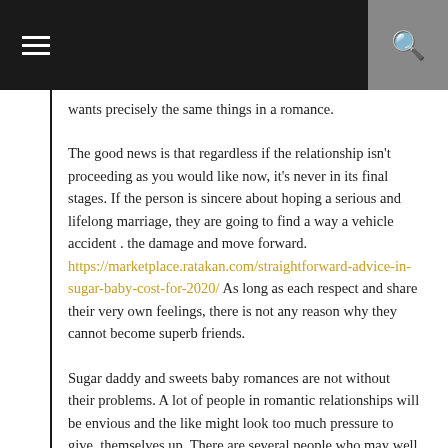wants precisely the same things in a romance.
The good news is that regardless if the relationship isn't proceeding as you would like now, it's never in its final stages. If the person is sincere about hoping a serious and lifelong marriage, they are going to find a way a vehicle accident . the damage and move forward. https://marketplace.ratakan.com/straightforward-advice-in-sugar-baby-cost-for-2020/ As long as each respect and share their very own feelings, there is not any reason why they cannot become superb friends.
Sugar daddy and sweets baby romances are not without their problems. A lot of people in romantic relationships will be envious and the like might look too much pressure to give. themselves up. There are several people who may well even feel unpleasant with